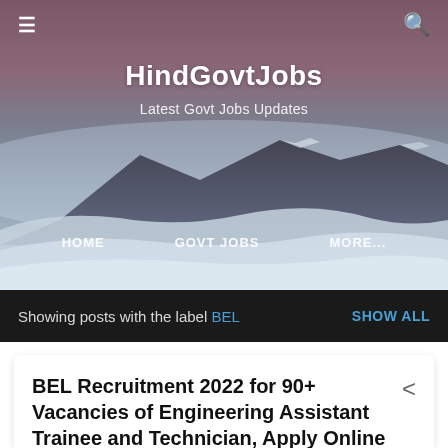[Figure (photo): Hero banner with mountain landscape at dusk, purple-pink and blue-grey tones, showing sand dunes and mountains in the background. Website header image for HindGovtJobs.]
≡ [hamburger menu] … [search icon]
HindGovtJobs
Latest Govt Jobs Updates
HOME   GOVT JOBS   MORE...
Showing posts with the label BEL   SHOW ALL
BEL Recruitment 2022 for 90+ Vacancies of Engineering Assistant Trainee and Technician, Apply Online
- April 12, 2022